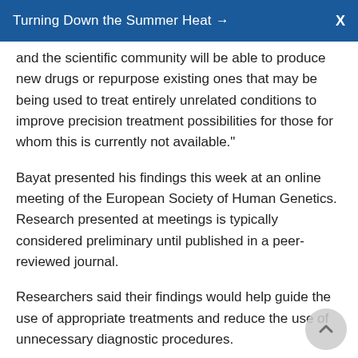Turning Down the Summer Heat →  X
and the scientific community will be able to produce new drugs or repurpose existing ones that may be being used to treat entirely unrelated conditions to improve precision treatment possibilities for those for whom this is currently not available."
Bayat presented his findings this week at an online meeting of the European Society of Human Genetics. Research presented at meetings is typically considered preliminary until published in a peer-reviewed journal.
Researchers said their findings would help guide the use of appropriate treatments and reduce the use of unnecessary diagnostic procedures.
"In recent years, the number of genes known to be associated with epilepsies has risen to over 500,"